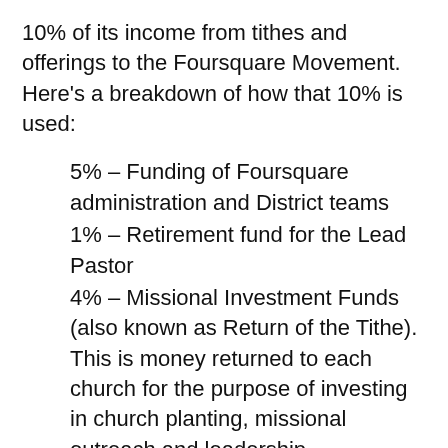10% of its income from tithes and offerings to the Foursquare Movement. Here’s a breakdown of how that 10% is used:
5% – Funding of Foursquare administration and District teams
1% – Retirement fund for the Lead Pastor
4% – Missional Investment Funds (also known as Return of the Tithe). This is money returned to each church for the purpose of investing in church planting, missional outreach and leadership development.
:: I’m new to the Foursquare